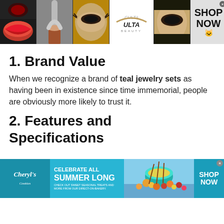[Figure (photo): Top banner advertisement for ULTA Beauty showing makeup photos (red lips, brush, smoky eyes) and SHOP NOW button]
1. Brand Value
When we recognize a brand of teal jewelry sets as having been in existence since time immemorial, people are obviously more likely to trust it.
2. Features and Specifications
[Figure (photo): Bottom banner advertisement for Cheryl's: CELEBRATE ALL SUMMER LONG with food imagery and SHOP NOW button]